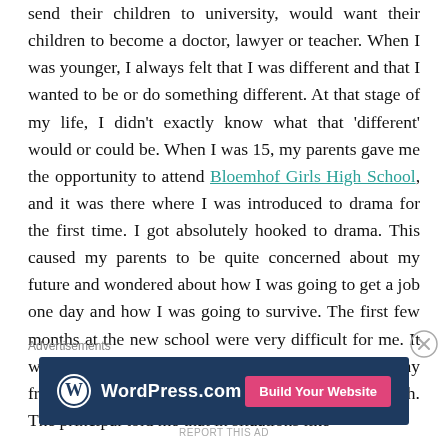send their children to university, would want their children to become a doctor, lawyer or teacher. When I was younger, I always felt that I was different and that I wanted to be or do something different. At that stage of my life, I didn't exactly know what that 'different' would or could be. When I was 15, my parents gave me the opportunity to attend Bloemhof Girls High School, and it was there where I was introduced to drama for the first time. I got absolutely hooked to drama. This caused my parents to be quite concerned about my future and wondered about how I was going to get a job one day and how I was going to survive. The first few months at the new school were very difficult for me. It was my first time away from home, away from my friends and away from things that I was familiar with. The principal told me that in situations like
Advertisements
[Figure (other): WordPress.com advertisement banner with logo on dark blue background and pink 'Build Your Website' button]